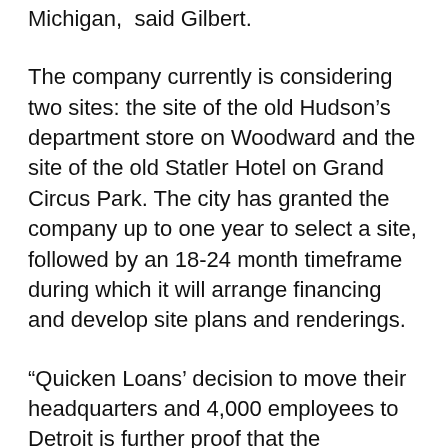Michigan,  said Gilbert.
The company currently is considering two sites: the site of the old Hudson's department store on Woodward and the site of the old Statler Hotel on Grand Circus Park. The city has granted the company up to one year to select a site, followed by an 18-24 month timeframe during which it will arrange financing and develop site plans and renderings.
“Quicken Loans’ decision to move their headquarters and 4,000 employees to Detroit is further proof that the revolutionary transformation taking place in this city continues to gain momentum,” said Mayor Kilpatrick. “Detroit’s long history of being a manufacturing town will never die, but it’s important to the long-term sustainability of this